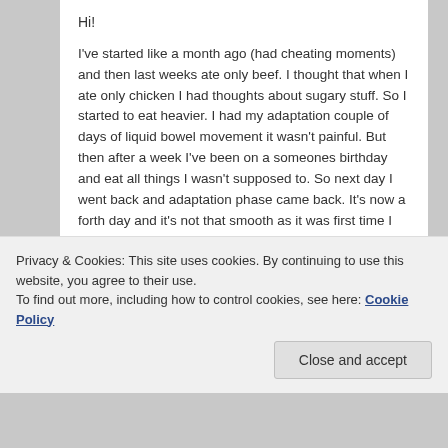Hi!

I've started like a month ago (had cheating moments) and then last weeks ate only beef. I thought that when I ate only chicken I had thoughts about sugary stuff. So I started to eat heavier. I had my adaptation couple of days of liquid bowel movement it wasn't painful. But then after a week I've been on a someones birthday and eat all things I wasn't supposed to. So next day I went back and adaptation phase came back. It's now a forth day and it's not that smooth as it was first time I have feelings in my gut that slowly wear me out. So my questions are:
Privacy & Cookies: This site uses cookies. By continuing to use this website, you agree to their use.
To find out more, including how to control cookies, see here: Cookie Policy